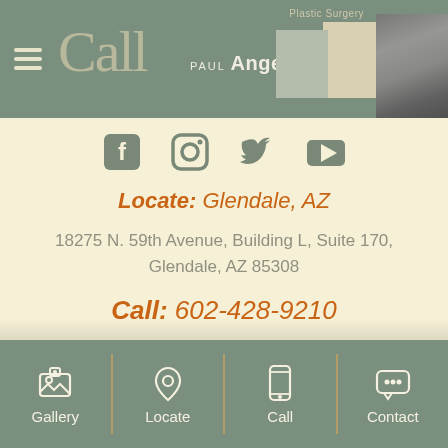Call  PAUL Angelchik MD  Plastic Surgery
[Figure (screenshot): Social media icons: Facebook, Instagram, Twitter, YouTube]
Locate: Glendale, AZ
18275 N. 59th Avenue, Building L, Suite 170, Glendale, AZ 85308
Call:  602-428-9210
HIPAA Policy | Sitemap | Contact
Gallery  Locate  Call  Contact